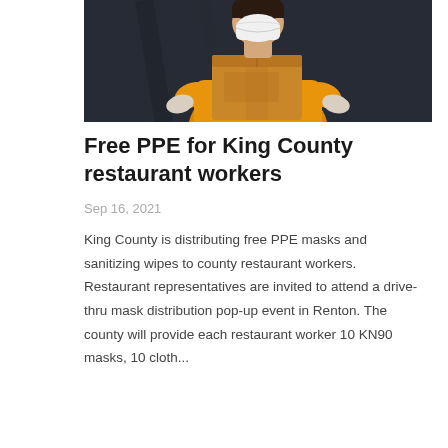[Figure (photo): A person wearing a white face mask and yellow shirt holding a cardboard box, against a dark background.]
Free PPE for King County restaurant workers
Sep 16, 2021
King County is distributing free PPE masks and sanitizing wipes to county restaurant workers. Restaurant representatives are invited to attend a drive-thru mask distribution pop-up event in Renton. The county will provide each restaurant worker 10 KN90 masks, 10 cloth...